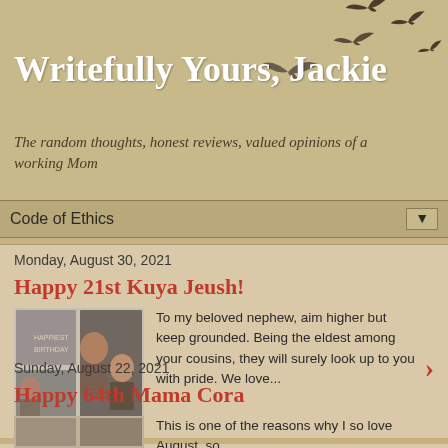Writefully Yours, Jackie
The random thoughts, honest reviews, valued opinions of a working Mom
Code of Ethics
Monday, August 30, 2021
Happy 21st Kuya Jeush!
[Figure (photo): Birthday photo collage with people at a celebration]
To my beloved nephew, aim higher but keep grounded. Being the eldest among your cousins, they will surely look up to you with pride. We love...
Sunday, August 22, 2021
Happy 64th Mama Cora
This is one of the reasons why I so love August, so